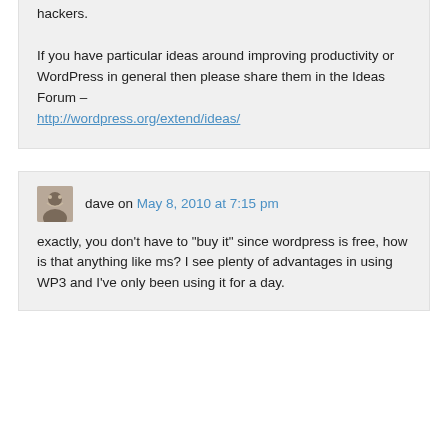hackers.

If you have particular ideas around improving productivity or WordPress in general then please share them in the Ideas Forum – http://wordpress.org/extend/ideas/
dave on May 8, 2010 at 7:15 pm

exactly, you don't have to "buy it" since wordpress is free, how is that anything like ms? I see plenty of advantages in using WP3 and I've only been using it for a day.